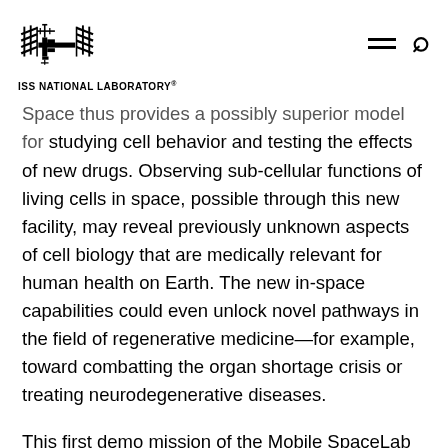ISS NATIONAL LABORATORY
Space thus provides a possibly superior model for studying cell behavior and testing the effects of new drugs. Observing sub-cellular functions of living cells in space, possible through this new facility, may reveal previously unknown aspects of cell biology that are medically relevant for human health on Earth. The new in-space capabilities could even unlock novel pathways in the field of regenerative medicine—for example, toward combatting the organ shortage crisis or treating neurodegenerative diseases.
This first demo mission of the Mobile SpaceLab